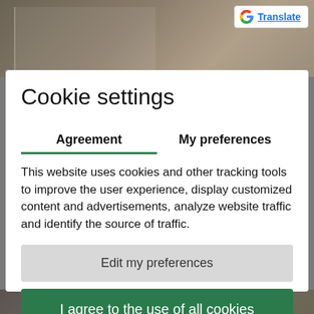[Figure (screenshot): Background photo of open book pages, blurred, with brownish-gray tones visible at top and bottom behind the modal dialog.]
[Figure (logo): Google Translate badge in top-right corner: Google 'G' multicolor logo followed by blue underlined text 'Translate' on white background with border.]
Cookie settings
Agreement
My preferences
This website uses cookies and other tracking tools to improve the user experience, display customized content and advertisements, analyze website traffic and identify the source of traffic.
Edit my preferences
I agree to the use of all cookies